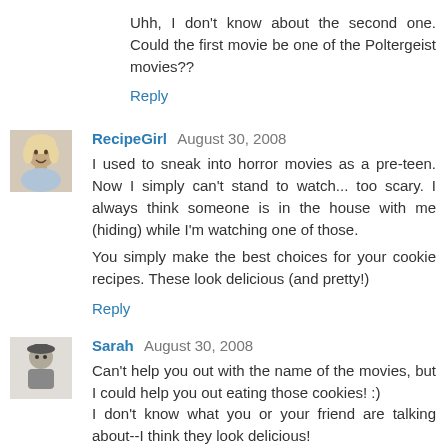Uhh, I don't know about the second one. Could the first movie be one of the Poltergeist movies??
Reply
RecipeGirl  August 30, 2008
I used to sneak into horror movies as a pre-teen. Now I simply can't stand to watch... too scary. I always think someone is in the house with me (hiding) while I'm watching one of those.
You simply make the best choices for your cookie recipes. These look delicious (and pretty!)
Reply
Sarah  August 30, 2008
Can't help you out with the name of the movies, but I could help you out eating those cookies! :)
I don't know what you or your friend are talking about--I think they look delicious!